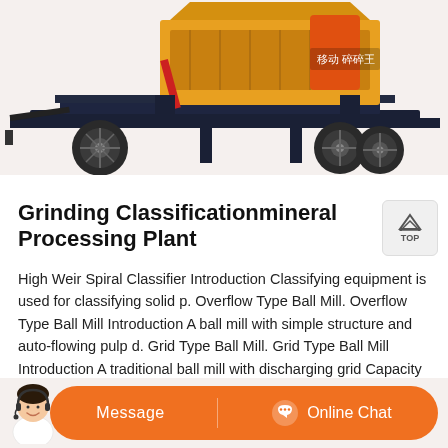[Figure (photo): Mobile crushing machine on trailer with yellow industrial crusher unit, mounted on wheeled flatbed trailer. Chinese text on machine reads 移动碎碎王.]
Grinding Classificationmineral Processing Plant
High Weir Spiral Classifier Introduction Classifying equipment is used for classifying solid p. Overflow Type Ball Mill. Overflow Type Ball Mill Introduction A ball mill with simple structure and auto-flowing pulp d. Grid Type Ball Mill. Grid Type Ball Mill Introduction A traditional ball mill with discharging grid Capacity ...
[Figure (photo): Customer service representative with headset, orange chat bar with Message and Online Chat buttons]